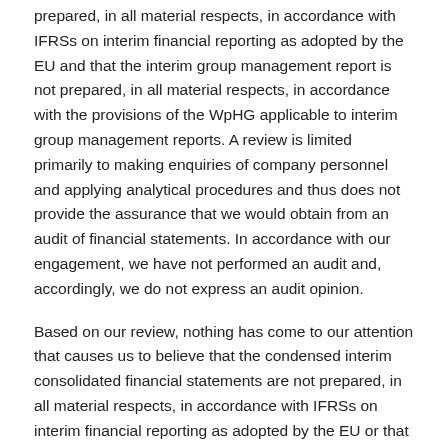prepared, in all material respects, in accordance with IFRSs on interim financial reporting as adopted by the EU and that the interim group management report is not prepared, in all material respects, in accordance with the provisions of the WpHG applicable to interim group management reports. A review is limited primarily to making enquiries of company personnel and applying analytical procedures and thus does not provide the assurance that we would obtain from an audit of financial statements. In accordance with our engagement, we have not performed an audit and, accordingly, we do not express an audit opinion.
Based on our review, nothing has come to our attention that causes us to believe that the condensed interim consolidated financial statements are not prepared, in all material respects, in accordance with IFRSs on interim financial reporting as adopted by the EU or that the interim group management report is not prepared, in all material respects, in accordance with the provisions of the WpHG